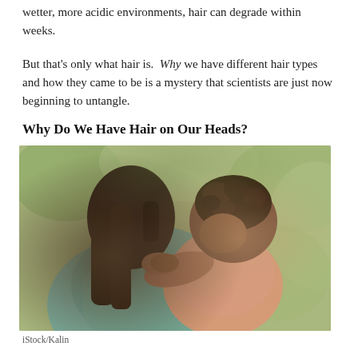wetter, more acidic environments, hair can degrade within weeks.
But that’s only what hair is. Why we have different hair types and how they came to be is a mystery that scientists are just now beginning to untangle.
Why Do We Have Hair on Our Heads?
[Figure (photo): A child with tightly coiled/loc'd hair resting their head on an adult’s shoulder, seen from behind. The adult wears a light teal top. Outdoor blurred green background.]
iStock/Kalin